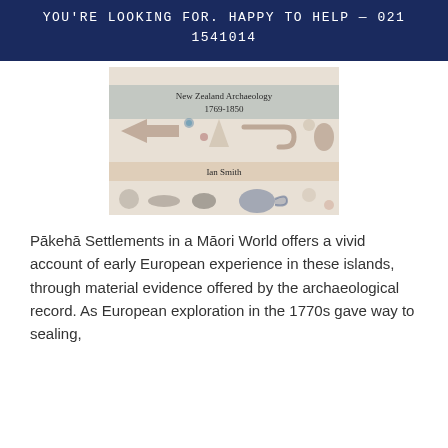YOU'RE LOOKING FOR. HAPPY TO HELP — 021 1541014
[Figure (illustration): Book cover for 'New Zealand Archaeology 1769-1850' by Ian Smith, showing various archaeological artifacts including arrows, circles, vessels, and tools on a muted background with title and author name bands.]
Pākehā Settlements in a Māori World offers a vivid account of early European experience in these islands, through material evidence offered by the archaeological record. As European exploration in the 1770s gave way to sealing,